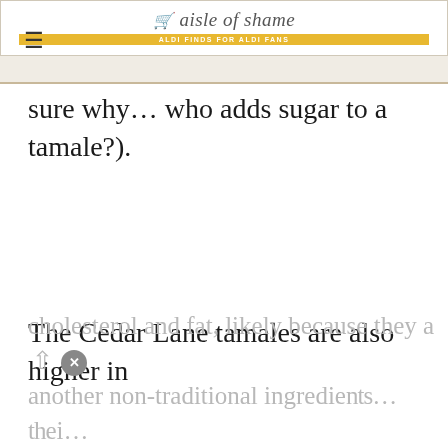aisle of shame — ALDI FINDS FOR ALDI FANS
sure why… who adds sugar to a tamale?).
The Cedar Lane tamales are also higher in cholesterol and fat, likely because they are another non-traditional ingredient… the…